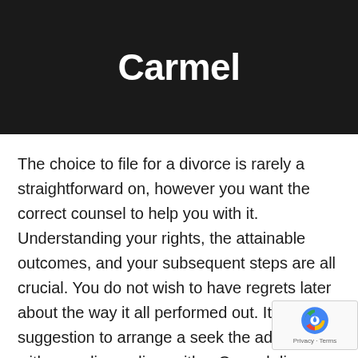Carmel
The choice to file for a divorce is rarely a straightforward on, however you want the correct counsel to help you with it. Understanding your rights, the attainable outcomes, and your subsequent steps are all crucial. You do not wish to have regrets later about the way it all performed out. It's a good suggestion to arrange a seek the advice of with spending a dime with a Carmel divorce lawyer. no cost, no obligation course of so that you can